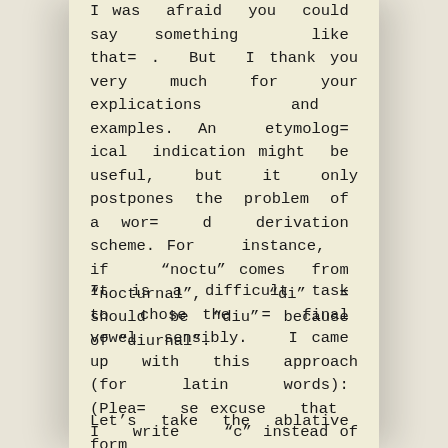I was afraid you could say something like that= . But I thank you very much for your explications and examples. An etymolog= ical indication might be useful, but it only postpones the problem of a wor= d derivation scheme. For instance, if "noctu" comes from "nocturnal", "di" = should be "diu" because of "diurnal".
It is a difficult task to chose the = final vowel sensibly. I came up with this approach (for latin words): (Plea= se excuse that I write "c" instead of "k".)
Let’s take the ablative form (...